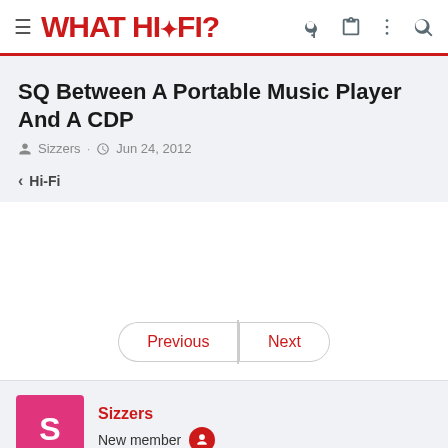WHAT HI·FI?
SQ Between A Portable Music Player And A CDP
Sizzers · Jun 24, 2012
< Hi-Fi
Previous | Next
Sizzers
New member